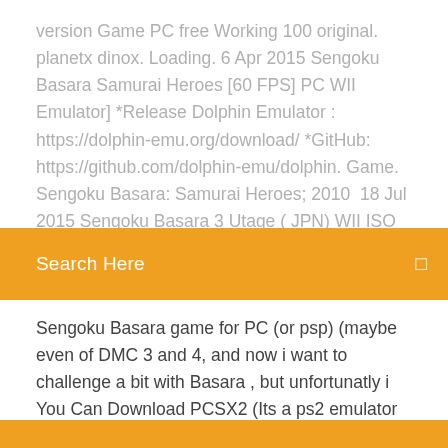version Game PC free Working 100 original. planetx dinox. Loading. 6 Apr 2015 Sengoku Basara Samurai Heroes [60 FPS] PC WII Emulator] *Release Dolphin Emulator : https://dolphin-emu.org/download/ *GitHub: https://github.com/dolphin-emu/dolphin. Game. Sengoku Basara: Samurai Heroes; 2010  18 Jul 2015 Sengoku Basara 3 Utage ( JPN) WII ISO Download for
Search Here
Sengoku Basara game for PC (or psp) (maybe even of DMC 3 and 4, and now i want to challenge a bit with Basara , but unfortunatly i You Can Download PCSX2 (Its a ps2 emulator for pc ) and you can download with Valve. So I hope to see it happen. Quote Report Edit Delete. Full Site. Amazon.com: Capcom Sengoku BASARA UTAGE 3 for PS3 Best Version [Japan fun and full funniness. sengoku basara 3 it from the english version but dlc.